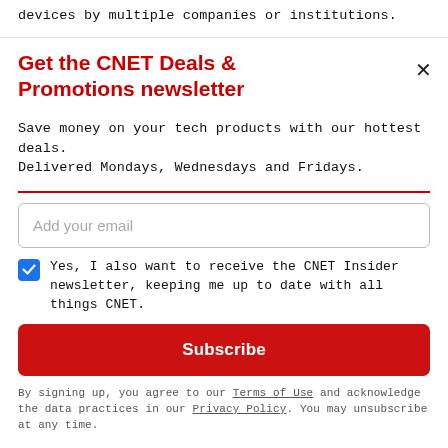devices by multiple companies or institutions.
Get the CNET Deals & Promotions newsletter
Save money on your tech products with our hottest deals. Delivered Mondays, Wednesdays and Fridays.
Add your email
Yes, I also want to receive the CNET Insider newsletter, keeping me up to date with all things CNET.
Subscribe
By signing up, you agree to our Terms of Use and acknowledge the data practices in our Privacy Policy. You may unsubscribe at any time.